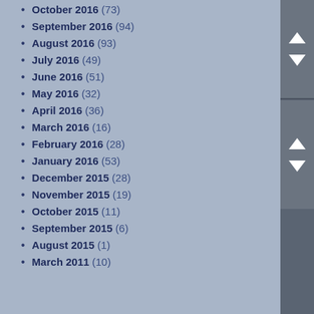October 2016 (73)
September 2016 (94)
August 2016 (93)
July 2016 (49)
June 2016 (51)
May 2016 (32)
April 2016 (36)
March 2016 (16)
February 2016 (28)
January 2016 (53)
December 2015 (28)
November 2015 (19)
October 2015 (11)
September 2015 (6)
August 2015 (1)
March 2011 (10)